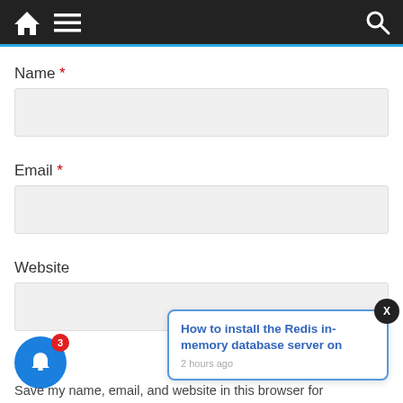Navigation bar with home, menu, and search icons
Name *
[Figure (screenshot): Empty text input field for Name]
Email *
[Figure (screenshot): Empty text input field for Email]
Website
[Figure (screenshot): Empty text input field for Website with notification popup: 'How to install the Redis in-memory database server on' posted 2 hours ago]
Save my name, email, and website in this browser for